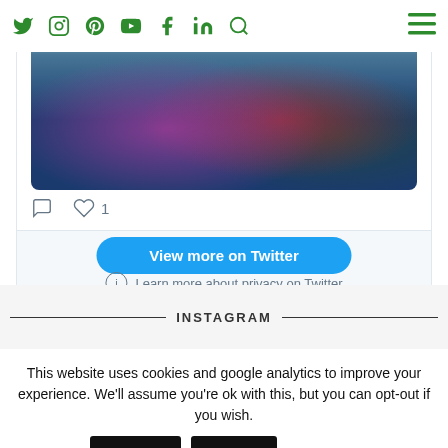Social media navigation bar with Twitter, Instagram, Pinterest, YouTube, Facebook, LinkedIn, Search icons and hamburger menu
[Figure (screenshot): Twitter embedded card showing a tweet with a festive dark blue image with colorful ornaments]
View more on Twitter
Learn more about privacy on Twitter
INSTAGRAM
This website uses cookies and google analytics to improve your experience. We'll assume you're ok with this, but you can opt-out if you wish. Accept Reject Read More